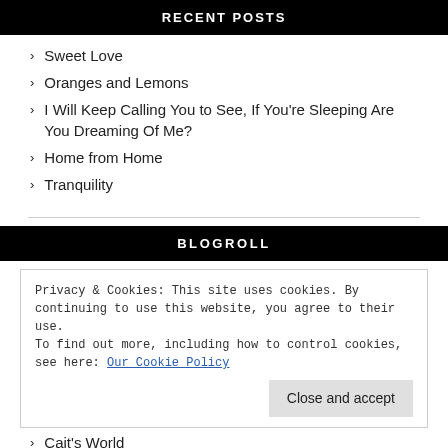RECENT POSTS
Sweet Love
Oranges and Lemons
I Will Keep Calling You to See, If You're Sleeping Are You Dreaming Of Me?
Home from Home
Tranquility
BLOGROLL
Privacy & Cookies: This site uses cookies. By continuing to use this website, you agree to their use.
To find out more, including how to control cookies, see here: Our Cookie Policy
Close and accept
Cait's World